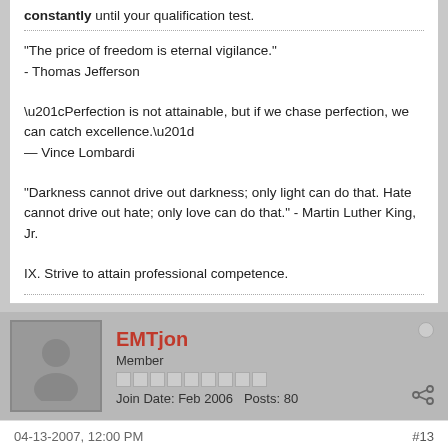constantly until your qualification test.
"The price of freedom is eternal vigilance."
- Thomas Jefferson

“Perfection is not attainable, but if we chase perfection, we can catch excellence.”
— Vince Lombardi

"Darkness cannot drive out darkness; only light can do that. Hate cannot drive out hate; only love can do that." - Martin Luther King, Jr.

IX. Strive to attain professional competence.
EMTjon
Member
Join Date: Feb 2006   Posts: 80
04-13-2007, 12:00 PM
#13
Originally posted by N. A. Corbier
I've always been under the idea that if some nice person puts the hand on the handle of their gun, they are about one step away